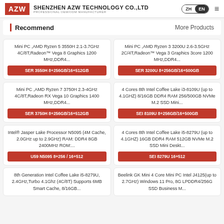AZW | SHENZHEN AZW TECHNOLOGY CO.,LTD | PROFESSIONAL OEM/ODM MANUFACTURER
Recommend | More Products
Mini PC ,AMD Ryzen 5 3550H 2.1-3.7GHz 4C/8T,Radeon™ Vega 8 Graphics 1200 MHz,DDR4...
SER 3550H 8+256GB/16+512GB
Mini PC ,AMD Ryzen 3 3200U 2.6-3.5GHz 2C/4T,Radeon™ Vega 3 Graphics 3core 1200 MHz,DDR4...
SER 3200U 8+256GB/16+500GB
Mini PC ,AMD Ryzen 7 3750H 2.3-4GHz 4C/8T,Radeon RX Vega 10 Graphics 1400 MHz,DDR4...
SER 3750H 8+256GB/16+512GB
4 Cores 8th Intel Coffee Lake i3-8109U (up to 4.1GHZ) 8/16GB DDR4 RAM 256/500GB NVMe M.2 SSD Mini...
SEI 8109U 8+256GB/16+500GB
Intel® Jasper Lake Processor N5095 (4M Cache, 2.0GHz up to 2.9GHz) RAM: DDR4 8GB 2400MHz ROM:...
U59 N5095 8+256 / 16+512
4 Cores 8th Intel Coffee Lake i5-8279U (up to 4.1GHZ) 16GB DDR4 RAM 512GB NVMe M.2 SSD Mini Deskt...
SEI 8279U 16+512
8th Generation Intel Coffee Lake i5-8279U, 2.4GHz,Turbo 4.1Ghz (4C/8T) Supports 6MB Smart Cache, 8/16GB...
Beelink GK Mini 4 Core Mini PC Intel J4125(up to 2.7GHz) Windows 11 Pro, 8G LPDDR4/256G SSD Business M...